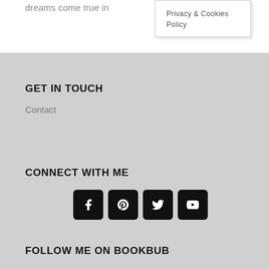dreams come true in
Privacy & Cookies Policy
GET IN TOUCH
Contact
CONNECT WITH ME
[Figure (other): Four social media icon buttons: Facebook, Pinterest, Twitter, YouTube — black rounded squares with white icons]
FOLLOW ME ON BOOKBUB